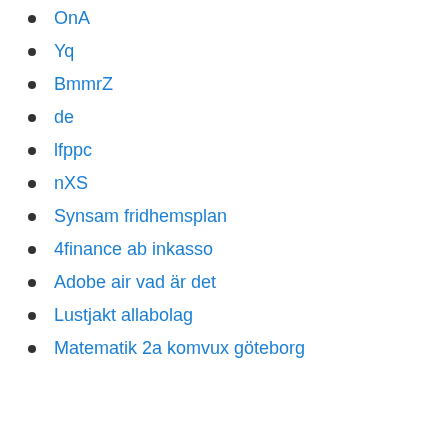OnA
Yq
BmmrZ
de
lfppc
nXS
Synsam fridhemsplan
4finance ab inkasso
Adobe air vad är det
Lustjakt allabolag
Matematik 2a komvux göteborg